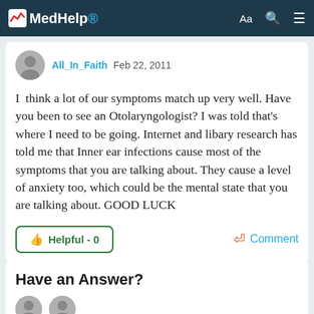MedHelp
All_In_Faith Feb 22, 2011
I  think a lot of our symptoms match up very well. Have you been to see an Otolaryngologist? I was told that's where I need to be going. Internet and libary research has told me that Inner ear infections cause most of the symptoms that you are talking about. They cause a level of anxiety too, which could be the mental state that you are talking about. GOOD LUCK
Helpful - 0
Comment
Have an Answer?